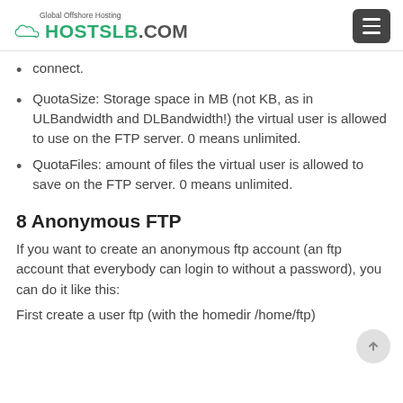Global Offshore Hosting HOSTSLB.COM
connect.
QuotaSize: Storage space in MB (not KB, as in ULBandwidth and DLBandwidth!) the virtual user is allowed to use on the FTP server. 0 means unlimited.
QuotaFiles: amount of files the virtual user is allowed to save on the FTP server. 0 means unlimited.
8 Anonymous FTP
If you want to create an anonymous ftp account (an ftp account that everybody can login to without a password), you can do it like this:
First create a user ftp (with the homedir /home/ftp)